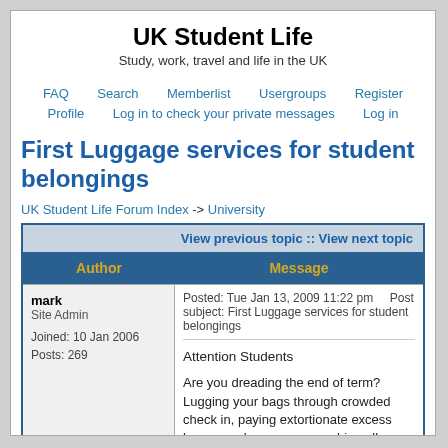UK Student Life
Study, work, travel and life in the UK
FAQ  Search  Memberlist  Usergroups  Register  Profile  Log in to check your private messages  Log in
First Luggage services for student belongings
UK Student Life Forum Index -> University
| Author | Message |
| --- | --- |
| mark
Site Admin

Joined: 10 Jan 2006
Posts: 269 | Posted: Tue Jan 13, 2009 11:22 pm    Post subject: First Luggage services for student belongings

Attention Students

Are you dreading the end of term? Lugging your bags through crowded check in, paying extortionate excess baggage charges or squashing all your possessions into a |